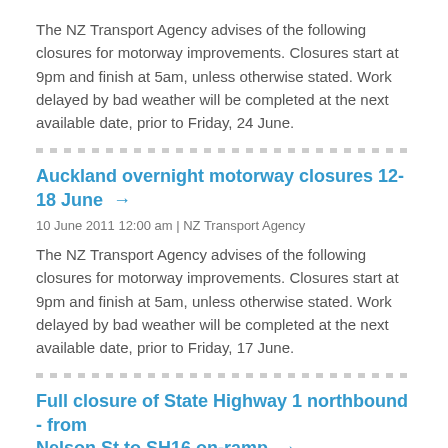The NZ Transport Agency advises of the following closures for motorway improvements. Closures start at 9pm and finish at 5am, unless otherwise stated. Work delayed by bad weather will be completed at the next available date, prior to Friday, 24 June.
Auckland overnight motorway closures 12-18 June →
10 June 2011 12:00 am | NZ Transport Agency
The NZ Transport Agency advises of the following closures for motorway improvements. Closures start at 9pm and finish at 5am, unless otherwise stated. Work delayed by bad weather will be completed at the next available date, prior to Friday, 17 June.
Full closure of State Highway 1 northbound - from Nelson St to SH16 on-ramp →